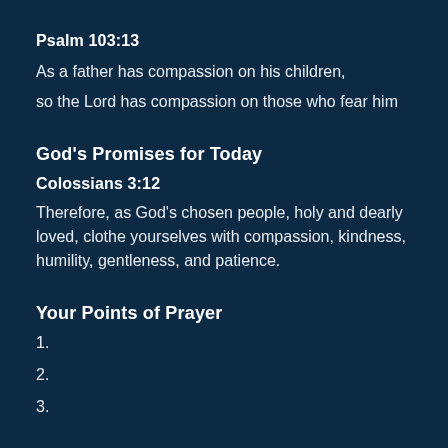Psalm 103:13
As a father has compassion on his children,
so the Lord has compassion on those who fear him
God's Promises for Today
Colossians 3:12
Therefore, as God's chosen people, holy and dearly loved, clothe yourselves with compassion, kindness, humility, gentleness, and patience.
Your Points of Prayer
1.
2.
3.